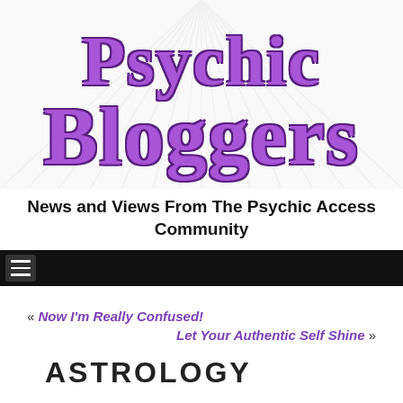[Figure (logo): Psychic Bloggers logo with large purple serif text on a white background with gray radiating rays. Text reads 'Psychic' on top line and 'Bloggers' on second line in large bold purple font with dark outline.]
News and Views From The Psychic Access Community
[Figure (other): Black navigation bar with hamburger menu icon (three white horizontal lines on dark gray background) on the left side.]
« Now I'm Really Confused!
Let Your Authentic Self Shine »
ASTROLOGY